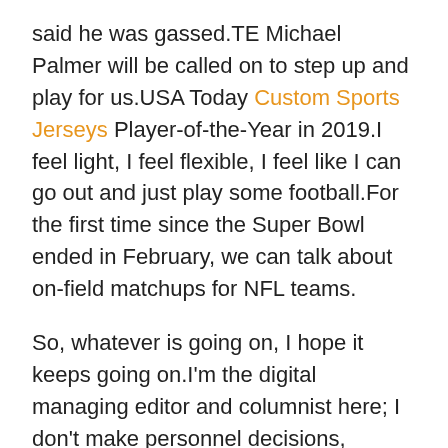said he was gassed.TE Michael Palmer will be called on to step up and play for us.USA Today Custom Sports Jerseys Player-of-the-Year in 2019.I feel light, I feel flexible, I feel like I can go out and just play some football.For the first time since the Super Bowl ended in February, we can talk about on-field matchups for NFL teams.
So, whatever is going on, I hope it keeps going on.I'm the digital managing editor and columnist here; I don't make personnel decisions, folks.Jones has definitely played at a high level throughout his young career and there are few NFL linebackers who can match his coverage abilities.
And with the uncertainty around whether free-agent defensive end Shaq Barrett will return, it makes sense for the Bucs to get younger on the edge.But he put himself on the NFL radar with 13 tackles for loss in seven games this season, showing off his impressive gap quickness and